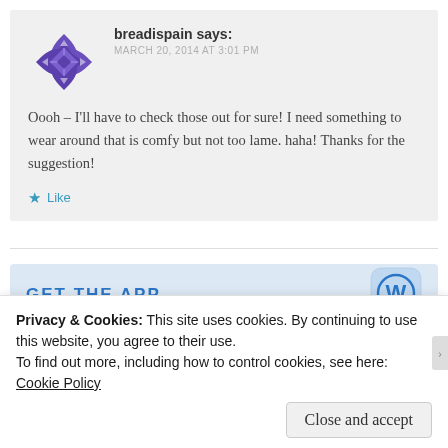[Figure (logo): Purple/violet geometric WordPress-style avatar icon with diamond grid pattern]
breadispain says:
MARCH 20, 2014 AT 3:01 PM
Oooh – I'll have to check those out for sure! I need something to wear around that is comfy but not too lame. haha! Thanks for the suggestion!
★ Like
GET THE APP
[Figure (logo): WordPress W logo in blue rounded square app icon]
Privacy & Cookies: This site uses cookies. By continuing to use this website, you agree to their use.
To find out more, including how to control cookies, see here: Cookie Policy
Close and accept